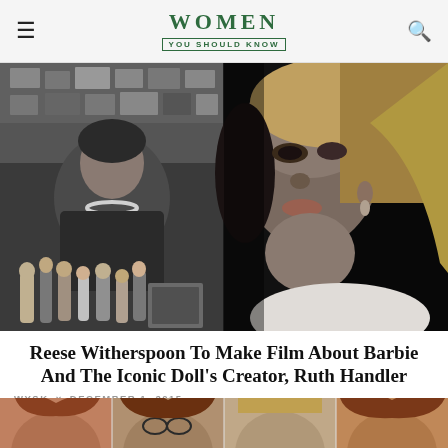WOMEN YOU SHOULD KNOW
[Figure (photo): Black and white composite photo: left side shows a woman (Ruth Handler) smiling with Barbie dolls in front of her and toy products behind her; right side shows a close-up black and white portrait of a blonde woman (Reese Witherspoon) looking upward.]
Reese Witherspoon To Make Film About Barbie And The Iconic Doll's Creator, Ruth Handler
WYSK × DECEMBER 1, 2015
[Figure (photo): Bottom strip showing partial faces of four women with curly hair, only tops of heads visible.]